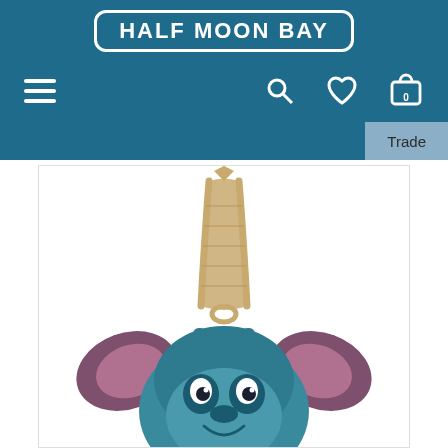HALF MOON BAY
[Figure (screenshot): Half Moon Bay website navigation bar with hamburger menu, search icon, heart/wishlist icon, and shopping bag icon with 0 items. A 'Trade' button is visible on the right.]
[Figure (photo): Stitch (from Lilo & Stitch) Christmas tree ornament hanging by a tan/beige ribbon loop. The ornament shows Stitch's blue head with pink inner ears raised up, teal colored body, and typical Stitch facial features. Product photo on white background.]